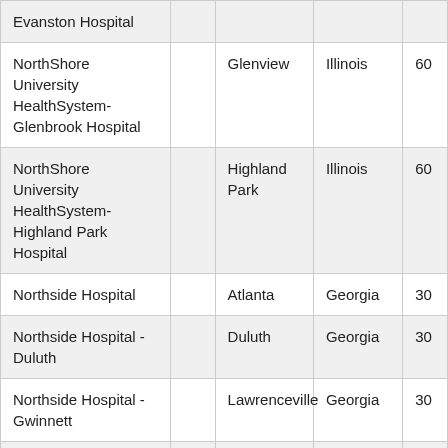| Name |  | City | State | ZIP |
| --- | --- | --- | --- | --- |
| Evanston Hospital |  |  |  |  |
| NorthShore University HealthSystem-Glenbrook Hospital |  | Glenview | Illinois | 60... |
| NorthShore University HealthSystem-Highland Park Hospital |  | Highland Park | Illinois | 60... |
| Northside Hospital |  | Atlanta | Georgia | 30... |
| Northside Hospital - Duluth |  | Duluth | Georgia | 30... |
| Northside Hospital - Gwinnett |  | Lawrenceville | Georgia | 30... |
| Northside Hospital-Forsyth |  | Cumming | Georgia | 30... |
| Northwest Cancer Clinic |  | Kennewick | Washington | 99... |